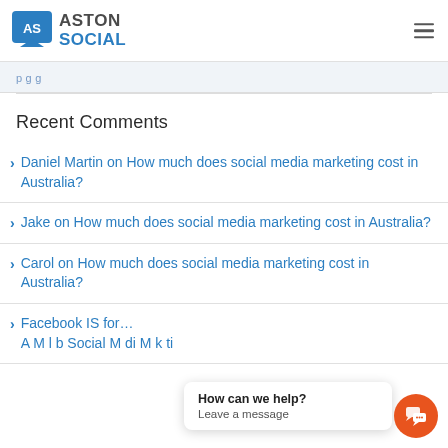ASTON SOCIAL
Daniel Martin on How much does social media marketing cost in Australia?
Jake on How much does social media marketing cost in Australia?
Carol on How much does social media marketing cost in Australia?
Facebook IS for…
How can we help? Leave a message